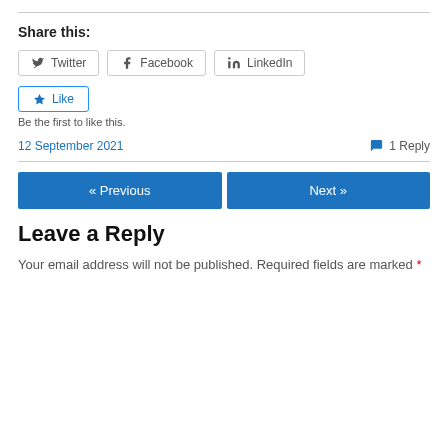Share this:
[Figure (other): Social share buttons: Twitter, Facebook, LinkedIn]
[Figure (other): Like button with star icon and text 'Be the first to like this.']
12 September 2021
1 Reply
« Previous
Next »
Leave a Reply
Your email address will not be published. Required fields are marked *